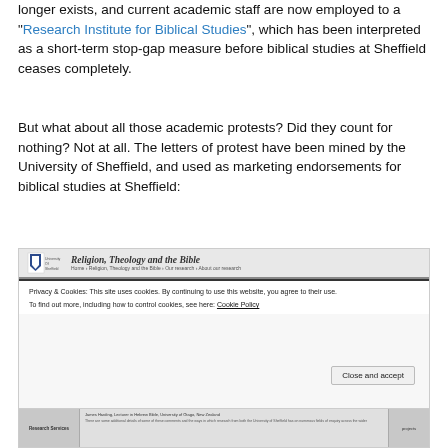longer exists, and current academic staff are now employed to a "Research Institute for Biblical Studies", which has been interpreted as a short-term stop-gap measure before biblical studies at Sheffield ceases completely.
But what about all those academic protests? Did they count for nothing? Not at all. The letters of protest have been mined by the University of Sheffield, and used as marketing endorsements for biblical studies at Sheffield:
[Figure (screenshot): Screenshot of the University of Sheffield 'Religion, Theology and the Bible' website page, showing a cookie consent banner with text 'Privacy & Cookies: This site uses cookies. By continuing to use this website, you agree to their use. To find out more, including how to control cookies, see here: Cookie Policy' and a 'Close and accept' button. Below is a partial view of the page content showing research staff listings.]